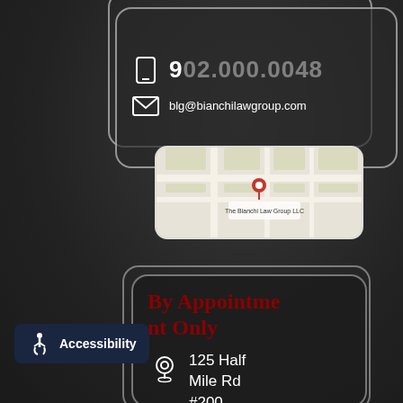blg@bianchilawgroup.com
[Figure (map): Google Maps thumbnail showing location of The Bianchi Law Group LLC]
By Appointment Only
125 Half Mile Rd #200 Red Bank
Accessibility